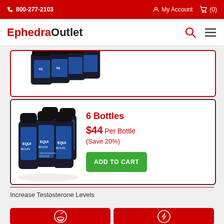800-277-2103  My Account  (0)
EphedraOutlet
[Figure (photo): Partial product card with supplement bottles visible at top (cut off), red border]
[Figure (photo): Six dark supplement bottles labeled EQUIBOLIN arranged in a cluster]
6 Bottles $44 Per Bottle (Save 20%)
ADD TO CART
Increase Testosterone Levels
[Figure (infographic): Two red tiles at bottom with white icons: mortar and pestle icon (left), lightning bolt icon (right)]